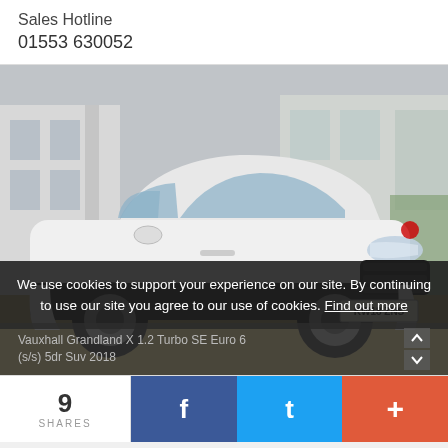Sales Hotline
01553 630052
[Figure (photo): White Vauxhall Grandland X SUV (KW18 ZNS) photographed in a showroom, three-quarter front view]
We use cookies to support your experience on our site. By continuing to use our site you agree to our use of cookies. Find out more
Vauxhall Grandland X 1.2 Turbo SE Euro 6 (s/s) 5dr Suv 2018
9
SHARES
f
t
+